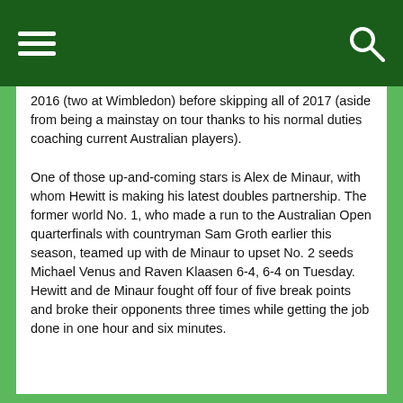2016 (two at Wimbledon) before skipping all of 2017 (aside from being a mainstay on tour thanks to his normal duties coaching current Australian players).
One of those up-and-coming stars is Alex de Minaur, with whom Hewitt is making his latest doubles partnership. The former world No. 1, who made a run to the Australian Open quarterfinals with countryman Sam Groth earlier this season, teamed up with de Minaur to upset No. 2 seeds Michael Venus and Raven Klaasen 6-4, 6-4 on Tuesday. Hewitt and de Minaur fought off four of five break points and broke their opponents three times while getting the job done in one hour and six minutes.